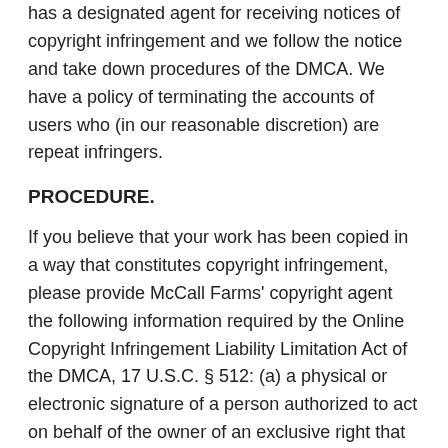has a designated agent for receiving notices of copyright infringement and we follow the notice and take down procedures of the DMCA. We have a policy of terminating the accounts of users who (in our reasonable discretion) are repeat infringers.
PROCEDURE.
If you believe that your work has been copied in a way that constitutes copyright infringement, please provide McCall Farms' copyright agent the following information required by the Online Copyright Infringement Liability Limitation Act of the DMCA, 17 U.S.C. § 512: (a) a physical or electronic signature of a person authorized to act on behalf of the owner of an exclusive right that is allegedly infringed; (b) identification of the copyright work claimed to have been infringed, or, if multiple copyrighted works at a single online site are covered by a single notification, a representative list of such works at that site; (c)